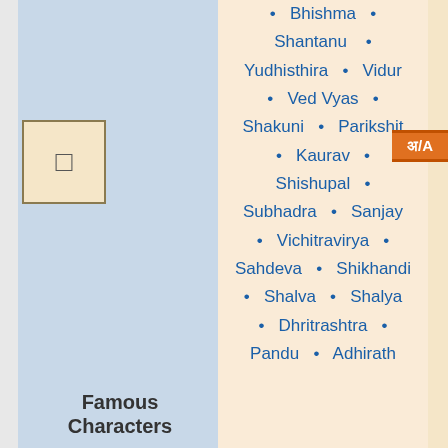[Figure (illustration): Small icon box with a symbol inside, on a light blue background]
Famous Characters
Bhishma
Shantanu
Yudhisthira
Vidur
Ved Vyas
Shakuni
Parikshit
Kaurav
Shishupal
Subhadra
Sanjay
Vichitravirya
Sahdeva
Shikhandi
Shalva
Shalya
Dhritrashtra
Pandu
Adhirath